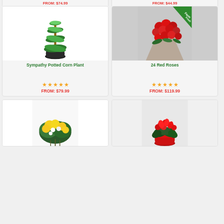FROM: $74.99
FROM: $44.99
[Figure (photo): Sympathy Potted Corn Plant in black pot]
Sympathy Potted Corn Plant
FROM: $79.99
[Figure (photo): 24 Red Roses bouquet wrapped in brown paper with Farm Fresh badge]
24 Red Roses
FROM: $119.99
[Figure (photo): Yellow lily and white flower arrangement]
[Figure (photo): Red cyclamen plant in red pot]